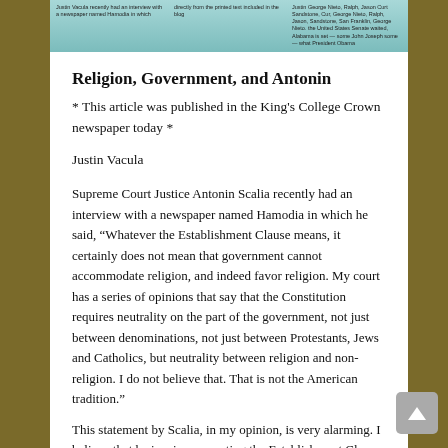[Figure (screenshot): Cropped header image of a newspaper or website with teal/cyan background and small text columns]
Religion, Government, and Antonin
* This article was published in the King's College Crown newspaper today *
Justin Vacula
Supreme Court Justice Antonin Scalia recently had an interview with a newspaper named Hamodia in which he said, “Whatever the Establishment Clause means, it certainly does not mean that government cannot accommodate religion, and indeed favor religion. My court has a series of opinions that say that the Constitution requires neutrality on the part of the government, not just between denominations, not just between Protestants, Jews and Catholics, but neutrality between religion and non-religion. I do not believe that. That is not the American tradition.”
This statement by Scalia, in my opinion, is very alarming. I believe that he is misrepresenting the Establishment Clause that